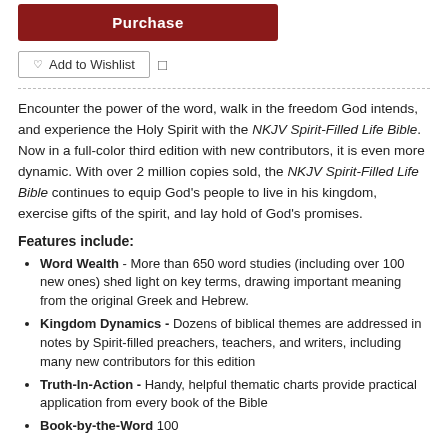[Figure (other): Red Purchase button]
Add to Wishlist
Encounter the power of the word, walk in the freedom God intends, and experience the Holy Spirit with the NKJV Spirit-Filled Life Bible. Now in a full-color third edition with new contributors, it is even more dynamic. With over 2 million copies sold, the NKJV Spirit-Filled Life Bible continues to equip God's people to live in his kingdom, exercise gifts of the spirit, and lay hold of God's promises.
Features include:
Word Wealth - More than 650 word studies (including over 100 new ones) shed light on key terms, drawing important meaning from the original Greek and Hebrew.
Kingdom Dynamics - Dozens of biblical themes are addressed in notes by Spirit-filled preachers, teachers, and writers, including many new contributors for this edition
Truth-In-Action - Handy, helpful thematic charts provide practical application from every book of the Bible
Book-by-the-Word 100 odd labels are shown at the bottom (cut off)